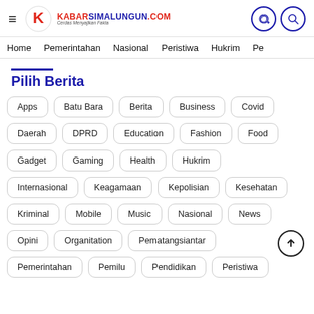KabarSimalungun.com — Cerdas Menyajikan Fakta
Home | Pemerintahan | Nasional | Peristiwa | Hukrim | Pe
Pilih Berita
Apps
Batu Bara
Berita
Business
Covid
Daerah
DPRD
Education
Fashion
Food
Gadget
Gaming
Health
Hukrim
Internasional
Keagamaan
Kepolisian
Kesehatan
Kriminal
Mobile
Music
Nasional
News
Opini
Organitation
Pematangsiantar
Pemerintahan
Pemilu
Pendidikan
Peristiwa